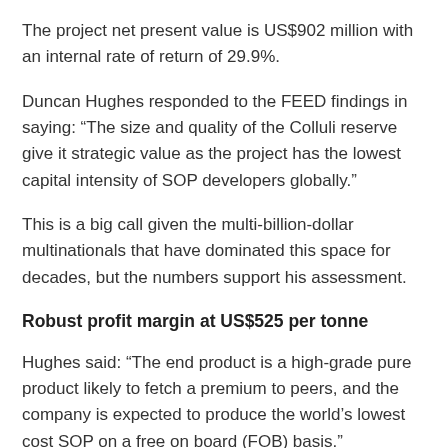The project net present value is US$902 million with an internal rate of return of 29.9%.
Duncan Hughes responded to the FEED findings in saying: “The size and quality of the Colluli reserve give it strategic value as the project has the lowest capital intensity of SOP developers globally.”
This is a big call given the multi-billion-dollar multinationals that have dominated this space for decades, but the numbers support his assessment.
Robust profit margin at US$525 per tonne
Hughes said: “The end product is a high-grade pure product likely to fetch a premium to peers, and the company is expected to produce the world’s lowest cost SOP on a free on board (FOB) basis.”